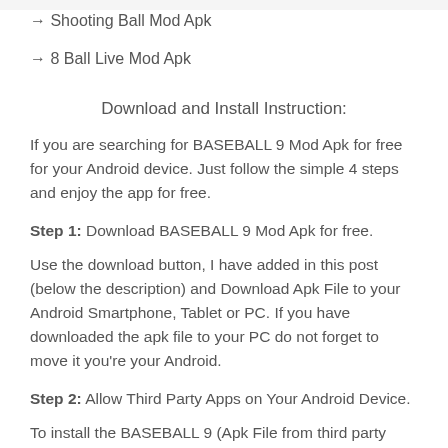→ Shooting Ball Mod Apk
→ 8 Ball Live Mod Apk
Download and Install Instruction:
If you are searching for BASEBALL 9 Mod Apk for free for your Android device. Just follow the simple 4 steps and enjoy the app for free.
Step 1:  Download BASEBALL 9 Mod Apk for free.
Use the download button, I have added in this post (below the description) and Download Apk File to your Android Smartphone, Tablet or PC. If you have downloaded the apk file to your PC do not forget to move it you're your Android.
Step 2: Allow Third Party Apps on Your Android Device.
To install the BASEBALL 9 (Apk File from third party sources), you must make sure that third party apps are currently enabled as an installation source. Just Go to Menu > Settings > Security > and check Unknown Sources to allow your phone to install Apps from